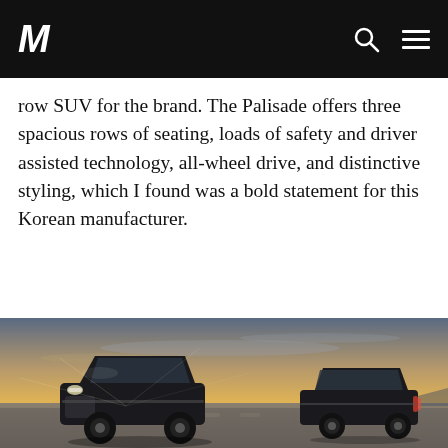M [logo] [search icon] [menu icon]
row SUV for the brand. The Palisade offers three spacious rows of seating, loads of safety and driver assisted technology, all-wheel drive, and distinctive styling, which I found was a bold statement for this Korean manufacturer.
[Figure (photo): Two dark-colored Hyundai Palisade SUVs photographed on a flat open road at sunset with dramatic sky and sunburst light behind the vehicles. One SUV faces front-left, the other is turned showing its rear three-quarters.]